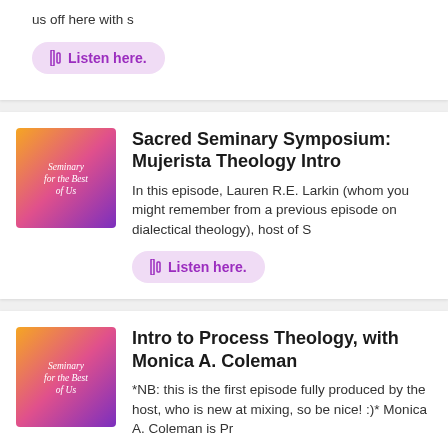us off here with s
Listen here.
Sacred Seminary Symposium: Mujerista Theology Intro
In this episode, Lauren R.E. Larkin (whom you might remember from a previous episode on dialectical theology), host of S
Listen here.
Intro to Process Theology, with Monica A. Coleman
*NB: this is the first episode fully produced by the host, who is new at mixing, so be nice! :)* Monica A. Coleman is Pr
Listen here.